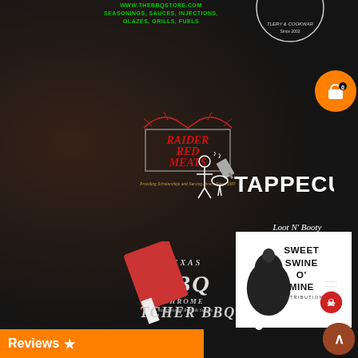WWW.THEBBQSTORE.COM
SEASONINGS, SAUCES, INJECTIONS,
GLAZES, GRILLS, FUELS
[Figure (logo): Shopping cart icon in orange circle with 0 badge]
[Figure (logo): Raider Red Meats logo with red serif text and decorative elements, tagline: Providing Scholarships and Serving Diners Since 1987]
[Figure (logo): Tappecue logo with white text and chef icon]
[Figure (logo): Texas Chrome BBQ Championship Rubs & Sauces logo in metallic lettering]
[Figure (logo): Loot N Booty BBQ logo with skull and crossbones pig design in white]
[Figure (logo): Butcher BBQ partial logo with cleaver graphic at bottom]
[Figure (logo): Sweet Swine O Mine Distribution logo on white background with pig illustration]
Reviews ★
[Figure (logo): Back to top arrow button in dark orange circle]